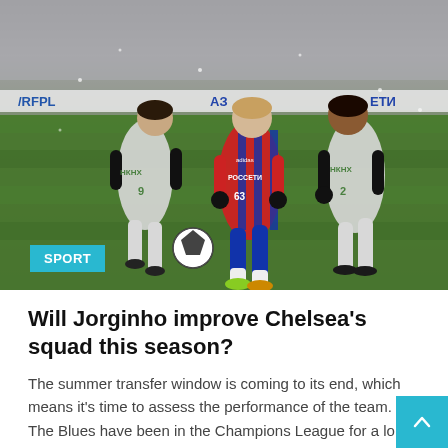[Figure (photo): Football/soccer match photo showing players on a grass field. A player in red and blue striped CSKA Moscow kit (with РОССЕТИ sponsor) dribbling between two defenders in white kits. Stadium crowd visible in background. Snowy/rainy conditions. RFPL and other sponsor banners visible.]
SPORT
Will Jorginho improve Chelsea's squad this season?
The summer transfer window is coming to its end, which means it's time to assess the performance of the team. The Blues have been in the Champions League for a long time, so they are well aware of the fact...